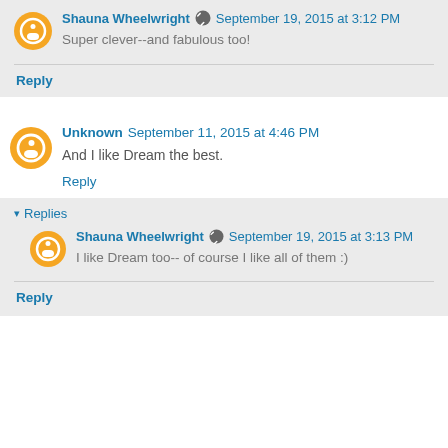Shauna Wheelwright [edit icon] September 19, 2015 at 3:12 PM
Super clever--and fabulous too!
Reply
Unknown September 11, 2015 at 4:46 PM
And I like Dream the best.
Reply
▾ Replies
Shauna Wheelwright [edit icon] September 19, 2015 at 3:13 PM
I like Dream too-- of course I like all of them :)
Reply